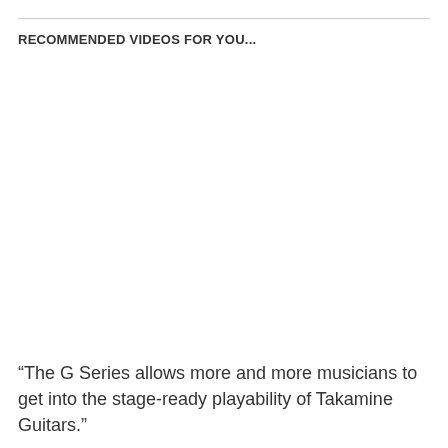RECOMMENDED VIDEOS FOR YOU...
“The G Series allows more and more musicians to get into the stage-ready playability of Takamine Guitars.”